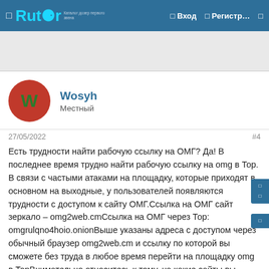□ Rutor  □ Вход  □ Регистр…  □
[Figure (other): Grey banner/advertisement area]
Wosyh
Местный
27/05/2022  #4
Есть трудности найти рабочую ссылку на ОМГ? Да! В последнее время трудно найти рабочую ссылку на omg в Тор. В связи с частыми атаками на площадку, которые приходят в основном на выходные, у пользователей появляются трудности с доступом к сайту ОМГ.Ссылка на ОМГ сайт зеркало – omg2web.cmСсылка на ОМГ через Тор: omgrulqno4hoio.onionВыше указаны адреса с доступом через обычный браузер omg2web.cm и ссылку по которой вы сможете без труда в любое время перейти на площадку omg в ТорВнимательно относитесь к тому, на какие сайты вы